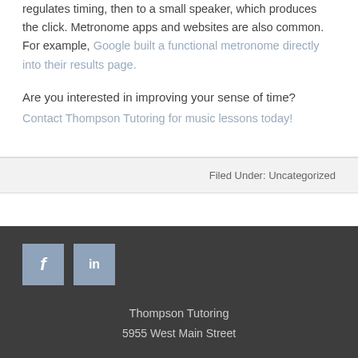regulates timing, then to a small speaker, which produces the click. Metronome apps and websites are also common. For example, Google built a functional metronome directly into their results page.
Are you interested in improving your sense of time? Contact Thompson Tutoring for music lessons today!
Filed Under: Uncategorized
[Figure (other): Facebook and LinkedIn social media icon buttons in muted blue-grey color]
Thompson Tutoring
5955 West Main Street